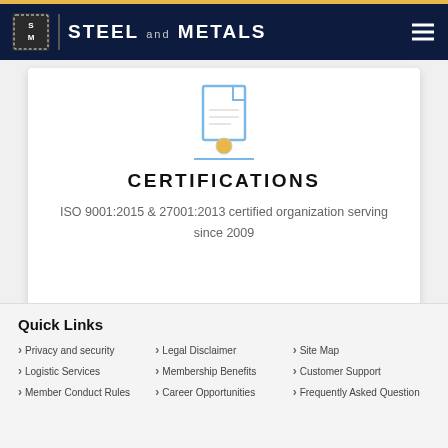STEEL AND METALS
[Figure (illustration): Certificate/document icon with a blue border shown above the Certifications section]
CERTIFICATIONS
ISO 9001:2015 & 27001:2013 certified organization serving since 2009
Quick Links
Privacy and security
Legal Disclaimer
Site Map
Logistic Services
Membership Benefits
Customer Support
Member Conduct Rules
Career Opportunities
Frequently Asked Question